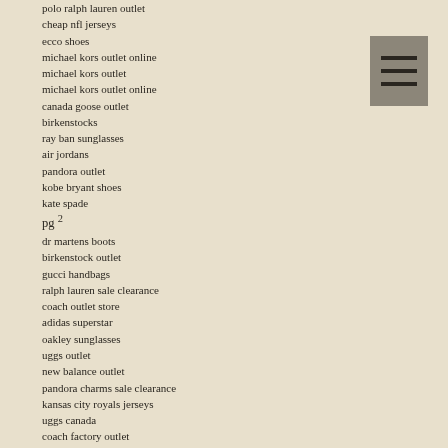polo ralph lauren outlet
cheap nfl jerseys
ecco shoes
michael kors outlet online
michael kors outlet
michael kors outlet online
canada goose outlet
birkenstocks
ray ban sunglasses
air jordans
pandora outlet
kobe bryant shoes
kate spade
pg 2
dr martens boots
birkenstock outlet
gucci handbags
ralph lauren sale clearance
coach outlet store
adidas superstar
oakley sunglasses
uggs outlet
new balance outlet
pandora charms sale clearance
kansas city royals jerseys
uggs canada
coach factory outlet
canada goose jackets
[Figure (other): Hamburger menu icon - three horizontal lines on a gray square background]